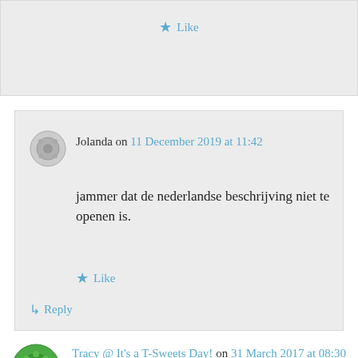Like
Jolanda on 11 December 2019 at 11:42
jammer dat de nederlandse beschrijving niet te openen is.
Like
Reply
Tracy @ It's a T-Sweets Day! on 31 March 2017 at 08:30
Those sure are pretty!! You are so talented:)!
Like